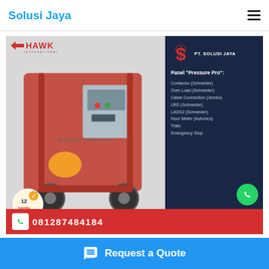Solusi Jaya
[Figure (photo): Hawk International high-pressure washer machine with red frame and wheels, 12 months warranty badge, control panel. Dark navy panel on right shows PT. Solusi Jaya branding and Panel Pressure Pro component list. Red bar at bottom with phone number.]
Panel "Pressure Pro":
Contactor (Schneider)
Over Load (Schneider)
Cable Connection (Jembo)
LRD (Schneider)
LADS2 (Schneider)
Hour Meter (Autonics)
Trafo
Emergency Stop
Request a Quote